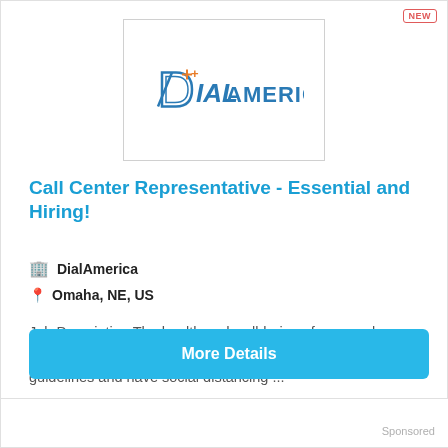[Figure (logo): DialAmerica company logo with orange plus/arrow mark and blue text]
Call Center Representative - Essential and Hiring!
DialAmerica
Omaha, NE, US
Job Description The health and well-being of our employees are important to us therefore, we are following the CDC guidelines and have social distancing ...
More Details
Sponsored